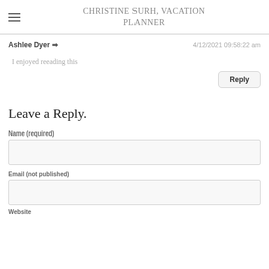CHRISTINE SURH, VACATION PLANNER
Ashlee Dyer  →  4/12/2021 09:58:22 am
I enjoyed reeading this
Reply
Leave a Reply.
Name (required)
Email (not published)
Website